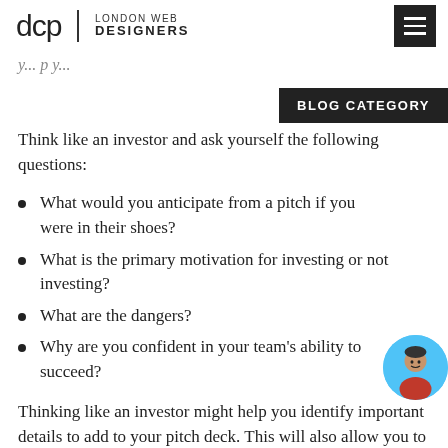dcp | LONDON WEB DESIGNERS
BLOG CATEGORY
Think like an investor and ask yourself the following questions:
What would you anticipate from a pitch if you were in their shoes?
What is the primary motivation for investing or not investing?
What are the dangers?
Why are you confident in your team's ability to succeed?
Thinking like an investor might help you identify important details to add to your pitch deck. This will also allow you to avoid the common pitfalls that cause new businesses to fail.